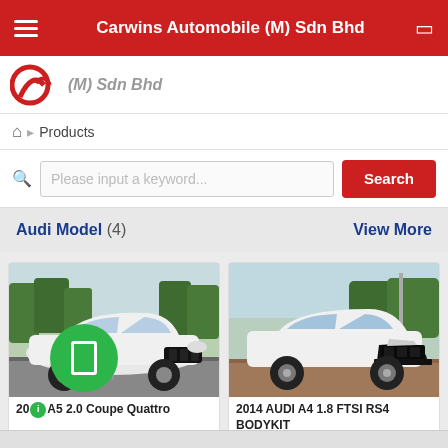Carwins Automobile (M) Sdn Bhd
[Figure (logo): Carwins Automobile logo - red swirl/CW mark]
Products
Please input a keyword...
Search
Audi Model (4)   View More
[Figure (photo): White Audi A5 2.0 Coupe Quattro parked outdoors]
[Figure (photo): White Audi A4 1.8 FTSI RS4 Bodykit parked outdoors]
20... A5 2.0 Coupe Quattro
2014 AUDI A4 1.8 FTSI RS4 BODYKIT